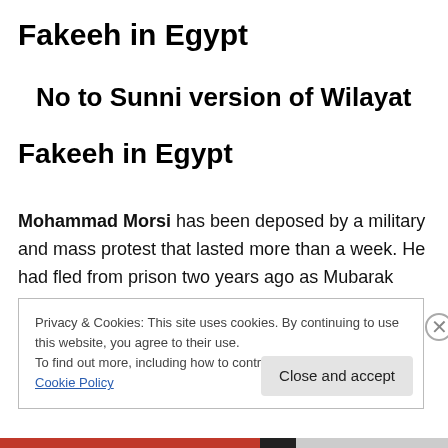Fakeeh in Egypt
No to Sunni version of Wilayat
Fakeeh in Egypt
Mohammad Morsi has been deposed by a military and mass protest that lasted more than a week. He had fled from prison two years ago as Mubarak was sacked.
Privacy & Cookies: This site uses cookies. By continuing to use this website, you agree to their use.
To find out more, including how to control cookies, see here: Cookie Policy